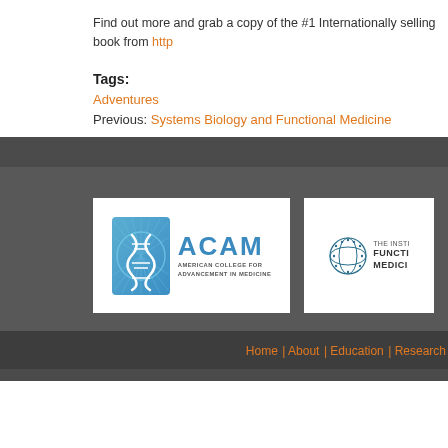Find out more and grab a copy of the #1 Internationally selling book from http…
Tags:
Adventures
Previous: Systems Biology and Functional Medicine
[Figure (logo): ACAM - American College for Advancement in Medicine logo with DNA helix icon in blue]
[Figure (logo): The Institute for Functional Medicine logo — partially visible, showing circular globe icon and text]
Home | About | Education | Research